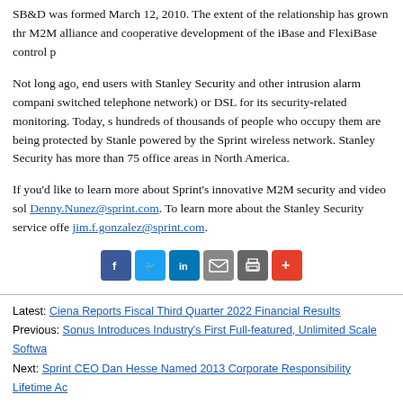SB&D was formed March 12, 2010. The extent of the relationship has grown thr M2M alliance and cooperative development of the iBase and FlexiBase control p
Not long ago, end users with Stanley Security and other intrusion alarm compani switched telephone network) or DSL for its security-related monitoring. Today, s hundreds of thousands of people who occupy them are being protected by Stanle powered by the Sprint wireless network. Stanley Security has more than 75 office areas in North America.
If you'd like to learn more about Sprint's innovative M2M security and video sol Denny.Nunez@sprint.com. To learn more about the Stanley Security service offe jim.f.gonzalez@sprint.com.
[Figure (infographic): Social sharing icons: Facebook (blue), Twitter (light blue), LinkedIn (blue), Email (grey), Print (dark grey), More/Plus (red)]
PR Archives: Latest, By Company, By Date
Latest: Ciena Reports Fiscal Third Quarter 2022 Financial Results
Previous: Sonus Introduces Industry's First Full-featured, Unlimited Scale Softwa
Next: Sprint CEO Dan Hesse Named 2013 Corporate Responsibility Lifetime Ac